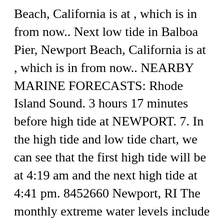Beach, California is at , which is in from now.. Next low tide in Balboa Pier, Newport Beach, California is at , which is in from now.. NEARBY MARINE FORECASTS: Rhode Island Sound. 3 hours 17 minutes before high tide at NEWPORT. 7. In the high tide and low tide chart, we can see that the first high tide will be at 4:19 am and the next high tide at 4:41 pm. 8452660 Newport, RI The monthly extreme water levels include a Mean Sea Level (MSL) trend of 2.58 millimeters/year with a 95% confidence interval of +/- 0.19 millimeters/year based on monthly MSL data from 1930 to 2006 which is equivalent to a change of 0.85 feet in 100 years. The Town & Tide Inn is appropriately named for its convenient location just a short, half